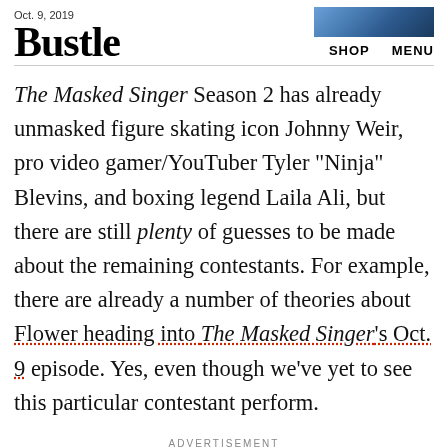Oct. 9, 2019  |  Bustle  |  SHOP  MENU
The Masked Singer Season 2 has already unmasked figure skating icon Johnny Weir, pro video gamer/YouTuber Tyler "Ninja" Blevins, and boxing legend Laila Ali, but there are still plenty of guesses to be made about the remaining contestants. For example, there are already a number of theories about Flower heading into The Masked Singer's Oct. 9 episode. Yes, even though we've yet to see this particular contestant perform.
ADVERTISEMENT